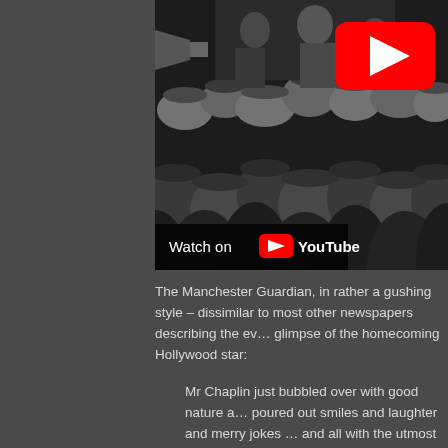[Figure (screenshot): Black and white historical photograph showing a large crowd of people wearing hats, with a YouTube play button overlay in the upper right corner and a 'Watch on YouTube' bar at the bottom of the image.]
The Manchester Guardian, in rather a gushing style – dissimilar to most other newspapers describing the ev… glimpse of the homecoming Hollywood star:
Mr Chaplin just bubbled over with good nature a… poured out smiles and laughter and merry jokes … and all with the utmost simplicity and perfect free…
The Mayor of Southampton greeted Chaplin and… rather earnestly with an apology about th…